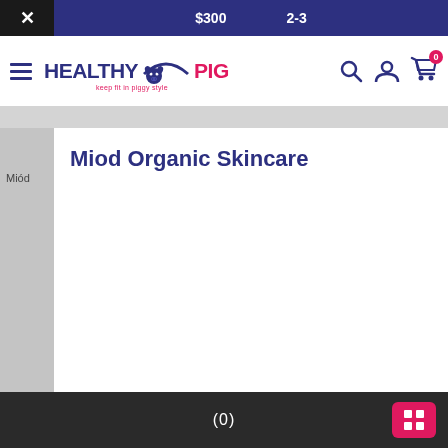$300   2-3
[Figure (logo): Healthy Pig logo with pig icon and tagline 'keep fit in piggy style']
Miod Organic Skincare
Miód
(0)